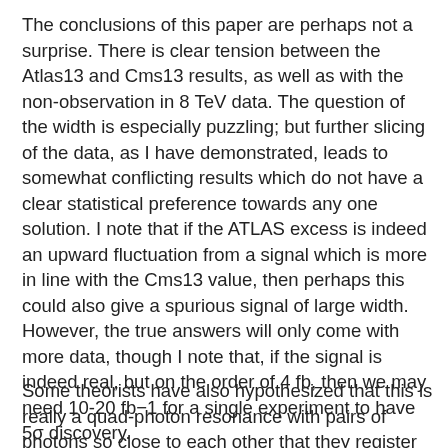The conclusions of this paper are perhaps not a surprise. There is clear tension between the Atlas13 and Cms13 results, as well as with the non-observation in 8 TeV data. The question of the width is especially puzzling; but further slicing of the data, as I have demonstrated, leads to somewhat conflicting results which do not have a clear statistical preference towards any one solution. I note that if the ATLAS excess is indeed an upward fluctuation from a signal which is more in line with the Cms13 value, then perhaps this could also give a spurious signal of large width. However, the true answers will only come with more data, though I note that, if the signal is indeed real, but on the order of 4 fb, then we may need 10-20 fb−1 for a single experiment to have 5σ discovery.
Some theorists have also hypothesized that this is really a quad-photon resonance with pairs of photons so close to each other that they register as single photons in the detector.